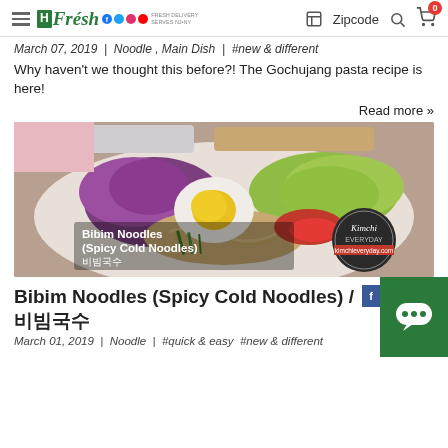H Fresh | Zipcode | 0
March 07, 2019 | Noodle , Main Dish | #new & different
Why haven't we thought this before?! The Gochujang pasta recipe is here!
Read more »
[Figure (photo): Bibim Noodles (Spicy Cold Noodles) dish with purple cabbage, green lettuce, half-boiled egg, and spicy toppings. Text overlay: 'Bibim Noodles (Spicy Cold Noodles) 비빔국수' and 'Kimchi Everyday' logo.]
Bibim Noodles (Spicy Cold Noodles) / 비빔국수
March 01, 2019 | Noodle | #quick & easy #new & different